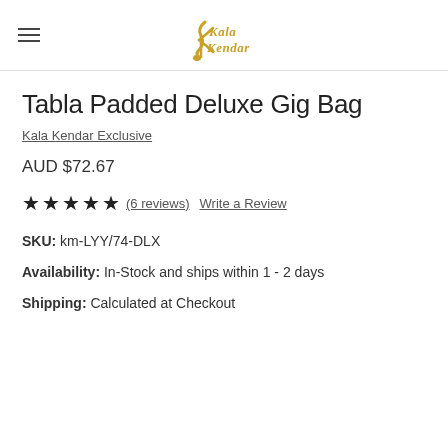Kala Kendar
Tabla Padded Deluxe Gig Bag
Kala Kendar Exclusive
AUD $72.67
★★★★★ (6 reviews)  Write a Review
SKU: km-LYY/74-DLX
Availability: In-Stock and ships within 1 - 2 days
Shipping: Calculated at Checkout